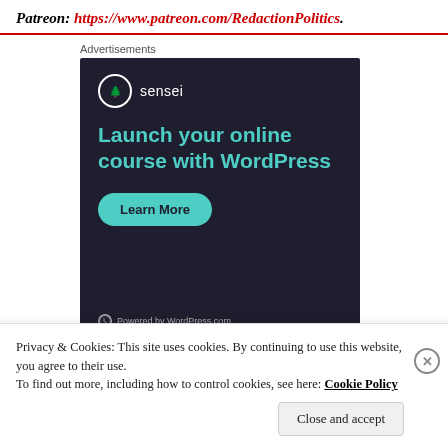Patreon: https://www.patreon.com/RedactionPolitics.
Advertisements
[Figure (illustration): Sensei advertisement banner on dark background. Shows Sensei logo with tree icon, headline 'Launch your online course with WordPress', a 'Learn More' teal button, and 'Powered by WordPress.com' footer.]
Privacy & Cookies: This site uses cookies. By continuing to use this website, you agree to their use.
To find out more, including how to control cookies, see here: Cookie Policy